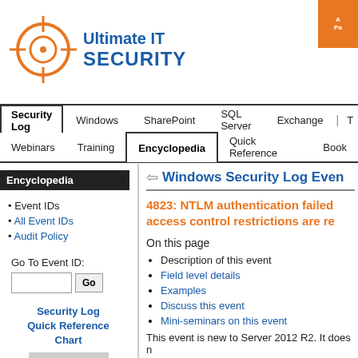[Figure (logo): Ultimate IT Security logo with orange crosshair target icon and blue text]
Navigation bar: Security Log | Windows | SharePoint | SQL Server | Exchange | T... / Webinars | Training | Encyclopedia | Quick Reference | Book
Encyclopedia
• Event IDs
• All Event IDs
• Audit Policy
Go To Event ID:
Security Log Quick Reference Chart
Windows Security Log Even
4823: NTLM authentication failed access control restrictions are re
On this page
Description of this event
Field level details
Examples
Discuss this event
Mini-seminars on this event
This event is new to Server 2012 R2. It does n...